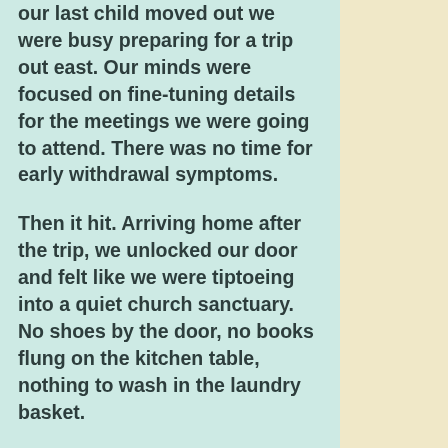our last child moved out we were busy preparing for a trip out east. Our minds were focused on fine-tuning details for the meetings we were going to attend. There was no time for early withdrawal symptoms.

Then it hit. Arriving home after the trip, we unlocked our door and felt like we were tiptoeing into a quiet church sanctuary. No shoes by the door, no books flung on the kitchen table, nothing to wash in the laundry basket.

All signs of no occupancy. And now I'm challenged with cooking for two. We've been eating a lot of leftovers.